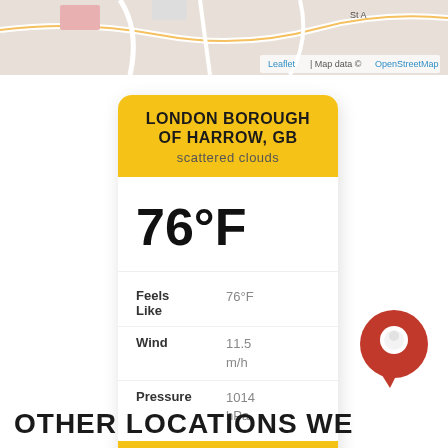[Figure (map): Partial map view showing OpenStreetMap tiles with road network visible. Attribution reads 'Leaflet | Map data © OpenStreetMap']
[Figure (infographic): Weather card for London Borough of Harrow, GB showing scattered clouds, 76°F temperature, feels like 76°F, wind 11.5 m/h, pressure 1014 hPa, with OpenWeather branding on yellow header and footer]
[Figure (logo): Red circular chat bubble icon in bottom right corner]
OTHER LOCATIONS WE